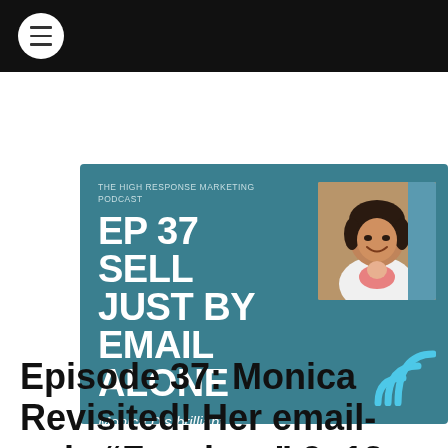Navigation bar with hamburger menu
[Figure (infographic): Podcast episode card with teal background. Shows 'THE HIGH RESPONSE MARKETING PODCAST' label, large text 'EP 37 SELL JUST BY EMAIL ALONE', subtitle 'Monica D’s brilliant email-only marketing biz', a photo of a woman smiling holding a baby, and WiFi arc decorative icon in bottom right.]
Episode 37: Monica Revisited! Her email-only “Faceless” 9×12